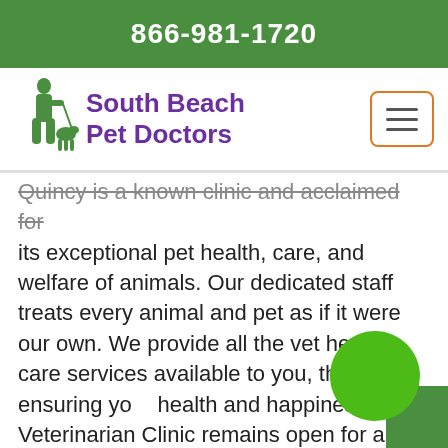866-981-1720
South Beach Pet Doctors
Quincy is a known clinic and acclaimed for its exceptional pet health, care, and welfare of animals. Our dedicated staff treats every animal and pet as if it were our own. We provide all the vet health care services available to you, thereby ensuring your health and happiness. Our Veterinarian Clinic remains open for all appointments with contactless consultations to ensure the welfare of your pet and animal.
CONTACT US